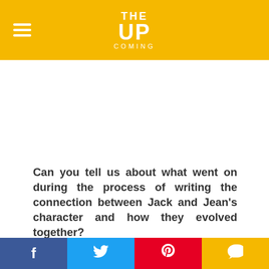THE UPCOMING
Can you tell us about what went on during the process of writing the connection between Jack and Jean's character and how they evolved together?
BA: Well, it's beautiful you said that because I think the secret motor is the special relationship between two people who barely meet. Only in the final scene. Jean is the eye of the storm, the supernova. One of the beautiful
Facebook Twitter Pinterest Comment